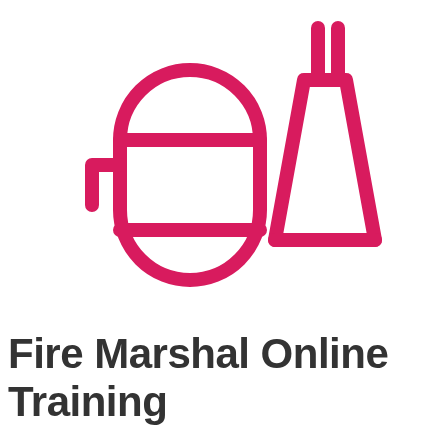[Figure (illustration): Icon illustration of a fire extinguisher (large, outline style in crimson/pink) and a conical flask/beaker (outline style, same color) on a white background. The fire extinguisher is centered-left with rounded top and rectangular body with a horizontal band. The flask is to the upper-right.]
Fire Marshal Online Training